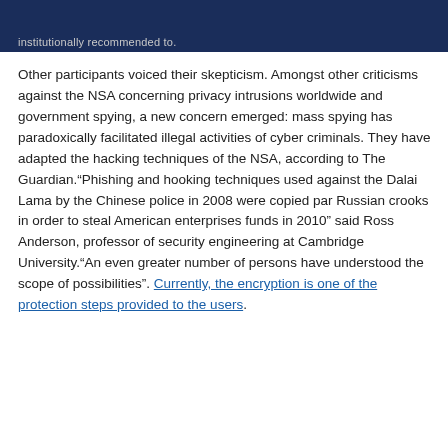institutionally recommended to.
Other participants voiced their skepticism. Amongst other criticisms against the NSA concerning privacy intrusions worldwide and government spying, a new concern emerged: mass spying has paradoxically facilitated illegal activities of cyber criminals. They have adapted the hacking techniques of the NSA, according to The Guardian.“Phishing and hooking techniques used against the Dalai Lama by the Chinese police in 2008 were copied par Russian crooks in order to steal American enterprises funds in 2010” said Ross Anderson, professor of security engineering at Cambridge University.“An even greater number of persons have understood the scope of possibilities”. Currently, the encryption is one of the protection steps provided to the users.